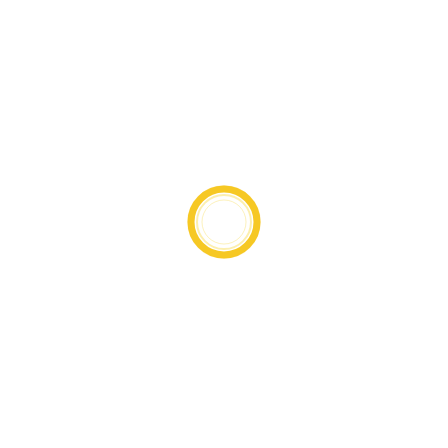[Figure (other): A small golden/yellow circular ring (donut shape) centered slightly below the middle of an otherwise blank white page. The ring has a thick orange-yellow stroke with a white interior and a subtle inner ring highlight.]